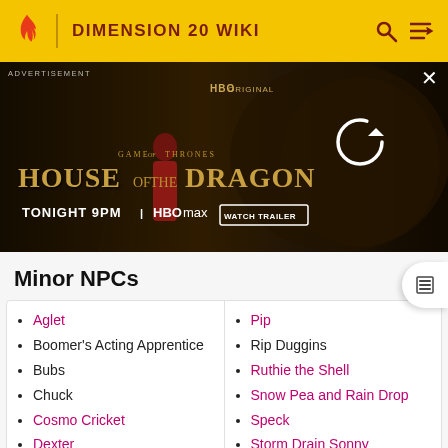DIMENSION 20 WIKI
[Figure (screenshot): HBO Original advertisement for House of the Dragon - Game of Thrones spinoff. Shows woman in red dress with dragon background. Text: GAME OF THRONES HOUSE OF THE DRAGON TONIGHT 9PM HBO max WATCH TRAILER]
Minor NPCs
Aglet
Boomer's Acting Apprentice
Bubs
Chuck
Cosmo Cricket
Dexter
Larry
Pip
Rip Duggins
Ruthie the Shell
Snow Pea and Rain Drop
Speck
Storm Drain Sonny
Thorn
Th 37th Burn...